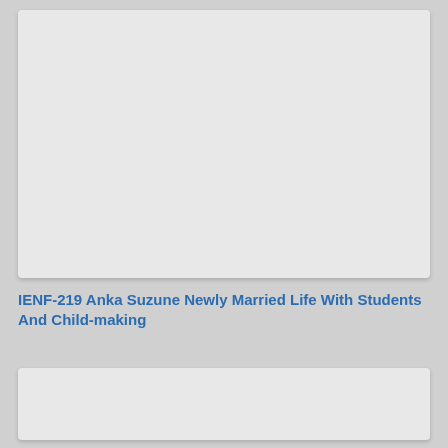[Figure (other): Gray placeholder card/image area at top of page]
IENF-219 Anka Suzune Newly Married Life With Students And Child-making
[Figure (other): Gray placeholder card/image area at bottom of page]